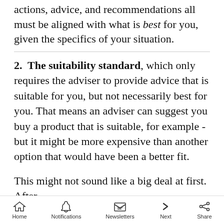actions, advice, and recommendations all must be aligned with what is best for you, given the specifics of your situation.
2. The suitability standard, which only requires the adviser to provide advice that is suitable for you, but not necessarily best for you. That means an adviser can suggest you buy a product that is suitable, for example - but it might be more expensive than another option that would have been a better fit.
This might not sound like a big deal at first. After
Home  Notifications  Newsletters  Next  Share